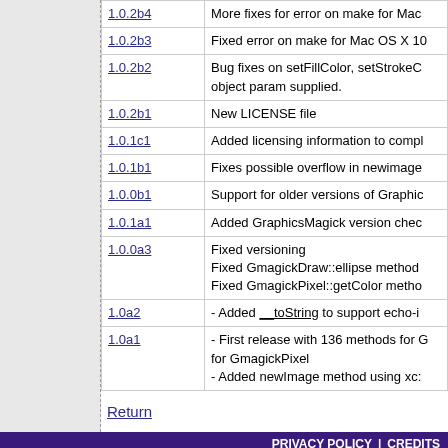| Version | Description |
| --- | --- |
| 1.0.2b4 | More fixes for error on make for Mac |
| 1.0.2b3 | Fixed error on make for Mac OS X 10 |
| 1.0.2b2 | Bug fixes on setFillColor, setStrokeC object param supplied. |
| 1.0.2b1 | New LICENSE file |
| 1.0.1c1 | Added licensing information to compl |
| 1.0.1b1 | Fixes possible overflow in newimage |
| 1.0.0b1 | Support for older versions of Graphic |
| 1.0.1a1 | Added GraphicsMagick version chec |
| 1.0.0a3 | Fixed versioning
Fixed GmagickDraw::ellipse method
Fixed GmagickPixel::getColor metho |
| 1.0a2 | - Added __toString to support echo-i |
| 1.0a1 | - First release with 136 methods for G for GmagickPixel
- Added newImage method using xc: |
Return
PRIVACY POLICY | CREDITS
Copyright © 2001-2022 The PHP Group
All rights reserved.
Last updated: Mon Jun 01 07:05:01 2020 UTC
Bandwidth and hardware provided by:
pair Networks